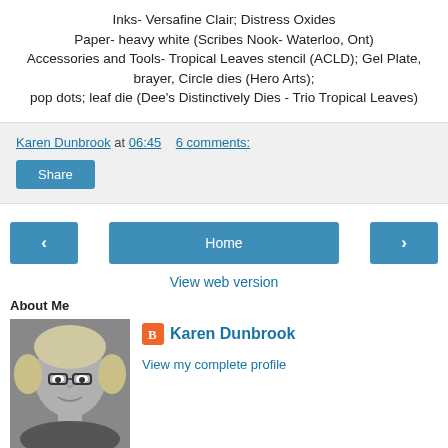Inks- Versafine Clair; Distress Oxides
Paper- heavy white (Scribes Nook- Waterloo, Ont)
Accessories and Tools- Tropical Leaves stencil (ACLD); Gel Plate, brayer, Circle dies (Hero Arts);
pop dots; leaf die (Dee's Distinctively Dies - Trio Tropical Leaves)
Karen Dunbrook at 06:45   6 comments:
Share
‹
Home
›
View web version
About Me
[Figure (photo): Black and white photo of Karen Dunbrook, a woman with blonde hair and glasses, smiling]
Karen Dunbrook
View my complete profile